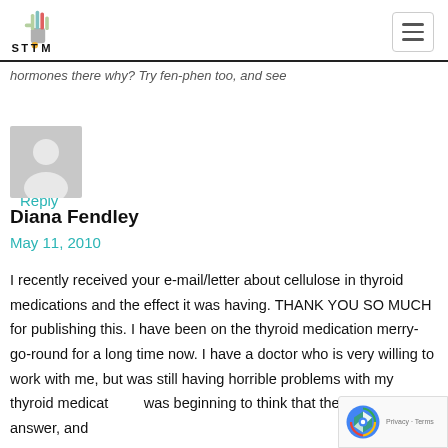STTM logo and navigation
hormones there why? Try fen-phen too, and see
Reply
[Figure (illustration): Generic user avatar placeholder — grey silhouette of a person on light grey background]
Diana Fendley
May 11, 2010
I recently received your e-mail/letter about cellulose in thyroid medications and the effect it was having. THANK YOU SO MUCH for publishing this. I have been on the thyroid medication merry-go-round for a long time now. I have a doctor who is very willing to work with me, but was still having horrible problems with my thyroid medication. was beginning to think that there was no answer, and